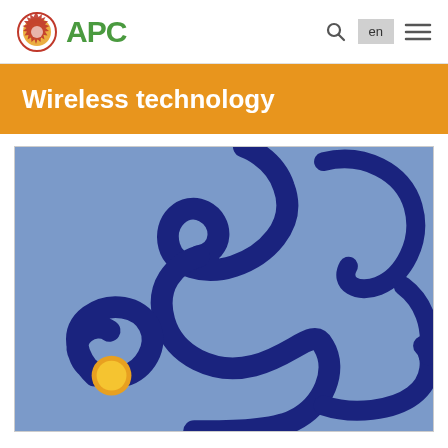APC
Wireless technology
[Figure (illustration): Abstract illustration on a blue background showing a dark navy curving snake-like line forming an S-shape at the top and looping shapes at the bottom, with a yellow/orange circle at the lower left area of the image.]